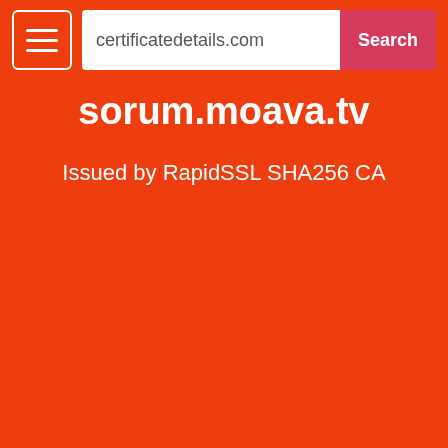certificatedetails.com | Search
sorum.moava.tv
Issued by RapidSSL SHA256 CA